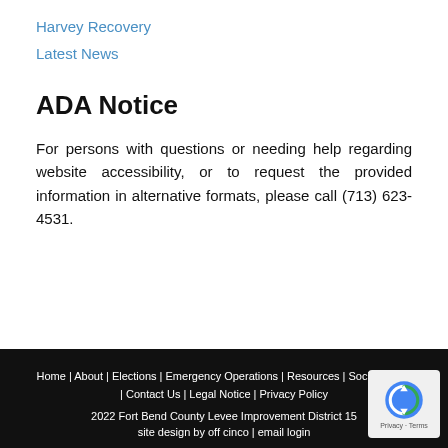Harvey Recovery
Latest News
ADA Notice
For persons with questions or needing help regarding website accessibility, or to request the provided information in alternative formats, please call (713) 623-4531.
Home | About | Elections | Emergency Operations | Resources | Social Media | Contact Us | Legal Notice | Privacy Policy
2022 Fort Bend County Levee Improvement District 15
site design by off cinco | email login